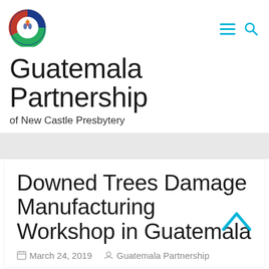[Figure (logo): Circular logo with colorful flame/figure design for New Castle Presbytery Guatemala Partnership]
Guatemala Partnership of New Castle Presbytery
Downed Trees Damage Manufacturing Workshop in Guatemala
March 24, 2019   Guatemala Partnership